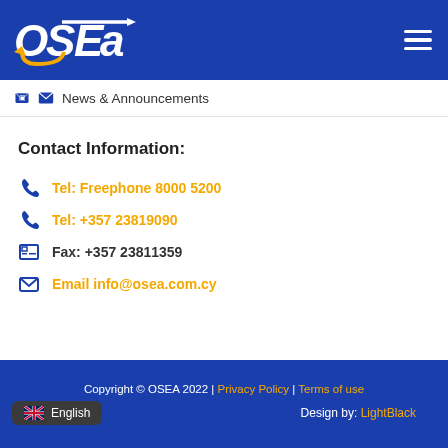[Figure (logo): OSEA logo in white and orange/yellow on blue background]
News & Announcements
Contact Information:
Tel: Freephone 8000 5200
Tel: +357 23819090
Fax: +357 23811359
Email info@osea.com.cy
Copyright © OSEA 2022 | Privacy Policy | Terms of use
Design by: LightBlack